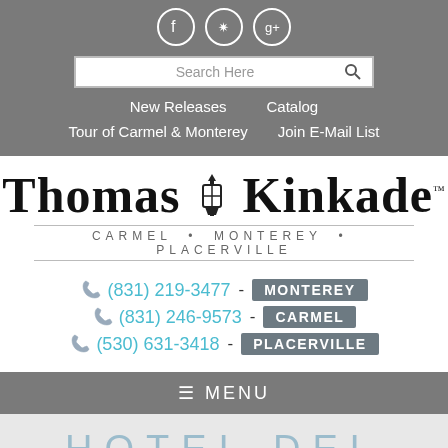Social icons: Facebook, Yelp, Google+
[Figure (screenshot): Navigation header with search bar, social icons, and menu links on gray background]
New Releases    Catalog
Tour of Carmel & Monterey    Join E-Mail List
[Figure (logo): Thomas Kinkade logo with lantern icon, CARMEL • MONTEREY • PLACERVILLE]
(831) 219-3477 - MONTEREY
(831) 246-9573 - CARMEL
(530) 631-3418 - PLACERVILLE
≡ MENU
HOTEL DEL